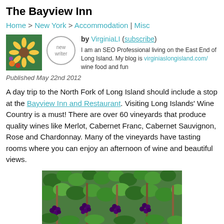The Bayview Inn
Home > New York > Accommodation | Misc
by VirginiaLI (subscribe) I am an SEO Professional living on the East End of Long Island. My blog is virginiaslongisland.com/ wine food and fun
Published May 22nd 2012
A day trip to the North Fork of Long Island should include a stop at the Bayview Inn and Restaurant. Visiting Long Islands' Wine Country is a must! There are over 60 vineyards that produce quality wines like Merlot, Cabernet Franc, Cabernet Sauvignon, Rose and Chardonnay. Many of the vineyards have tasting rooms where you can enjoy an afternoon of wine and beautiful views.
[Figure (photo): Photo of a vineyard with green leaves and clusters of dark purple grapes hanging from vines, appearing to be a painting or illustration style image.]